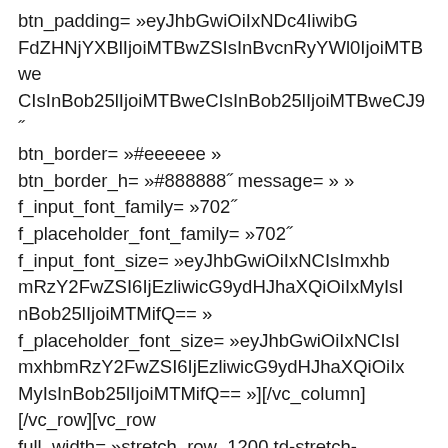btn_padding= »eyJhbGwiOiIxNDc4IiwibGFdZHNjYXBlIjoiMTBweCIsInBvcnRyYWl0IjoiMTBweCIsInBob25lIjoiMTBweCIsInBob25lIjoiMTBweCIsInBob25lMjlIjoiMTBweCI9"
btn_border= »#eeeeee »
btn_border_h= »#888888" message= » »
f_input_font_family= »702"
f_placeholder_font_family= »702"
f_input_font_size= »eyJhbGwiOiIxNCIsImxhbmRzY2FwZSI6IjEzliwicG9ydHJhaXQiOiIxMyIsInBob25lMjlIjoiMTMifQ== »
f_placeholder_font_size= »eyJhbGwiOiIxNCIsImxhbmRzY2FwZSI6IjEzliwicG9ydHJhaXQiOiIxMyIsInBob25lMjlIjoiMTMifQ== »][/vc_column][/vc_row][vc_row
full_width= »stretch_row_1200 td-stretch-content »
tdc_css= »eyJhbGwiOnsibWFyZ2luLXRvcCI6IjkwIiwibGluZS1oZWlnaHQiOiI5LCJsYW5kc2NhcGUiOiI5LCJsYW5kc2NhcGUiOiI5LCJsYW5kc2NhcGUiOiI5LCJsYW5kc2NhcGUiOiI5LCJsYW5kc2NhcGUiOiI5LCJsYW5kc2NhcGUiOiI5LCJsYW5kc2NhcGUiOiI5LCJsYW5kc2NhcGUiOiI5eyJhbGwiOnsibWFyZ2luLXRvcCI6IjkwIiwibGluZS1oZWlnaHQiOiI5MCIsImJvcmRlci1jb2xvciI6IiNlZWVlZWUifX0=